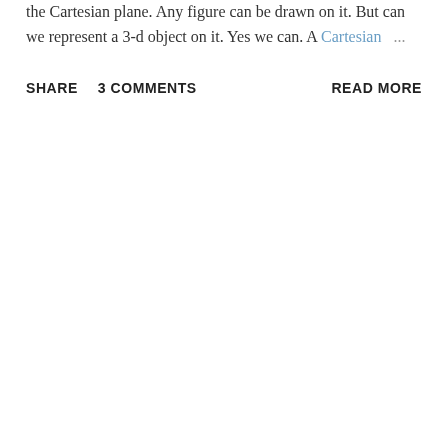the Cartesian plane. Any figure can be drawn on it. But can we represent a 3-d object on it. Yes we can. A Cartesian ...
SHARE    3 COMMENTS    READ MORE